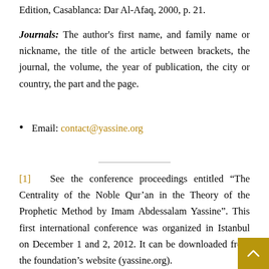Edition, Casablanca: Dar Al-Afaq, 2000, p. 21.
Journals: The author's first name, and family name or nickname, the title of the article between brackets, the journal, the volume, the year of publication, the city or country, the part and the page.
Email: contact@yassine.org
[1]  See the conference proceedings entitled “The Centrality of the Noble Qur’an in the Theory of the Prophetic Method by Imam Abdessalam Yassine”. This first international conference was organized in Istanbul on December 1 and 2, 2012. It can be downloaded from the foundation’s website (yassine.org).